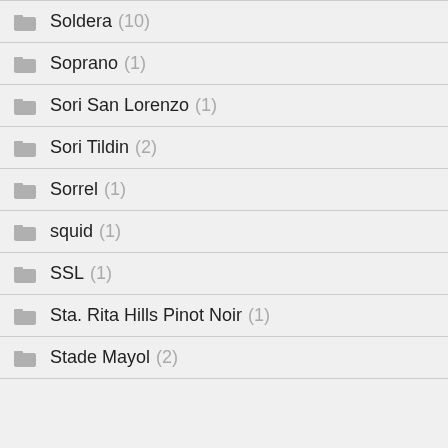Soldera (10)
Soprano (1)
Sori San Lorenzo (1)
Sori Tildin (2)
Sorrel (1)
squid (1)
SSL (1)
Sta. Rita Hills Pinot Noir (1)
Stade Mayol (2)